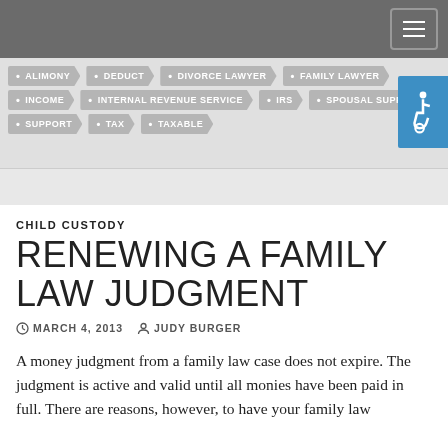Navigation header with hamburger menu
ALIMONY
DEDUCT
DIVORCE LAWYER
FAMILY LAWYER
INCOME
INTERNAL REVENUE SERVICE
IRS
SPOUSAL SUPPORT
SUPPORT
TAX
TAXABLE
CHILD CUSTODY
RENEWING A FAMILY LAW JUDGMENT
MARCH 4, 2013   JUDY BURGER
A money judgment from a family law case does not expire. The judgment is active and valid until all monies have been paid in full. There are reasons, however, to have your family law